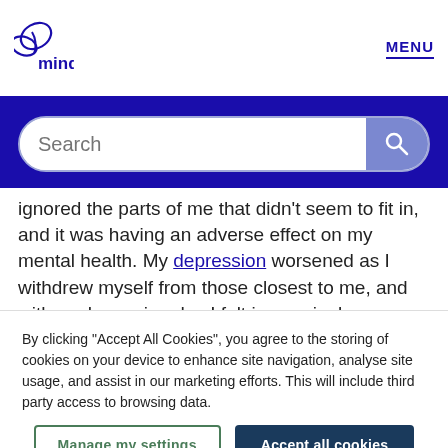mind | MENU
ignored the parts of me that didn't seem to fit in, and it was having an adverse effect on my mental health. My depression worsened as I withdrew myself from those closest to me, and with each passing day I felt increasingly more alone. I was losing the battle with my self-loathing and internalised homophobia.
By clicking “Accept All Cookies”, you agree to the storing of cookies on your device to enhance site navigation, analyse site usage, and assist in our marketing efforts. This will include third party access to browsing data.
Manage my settings | Accept all cookies